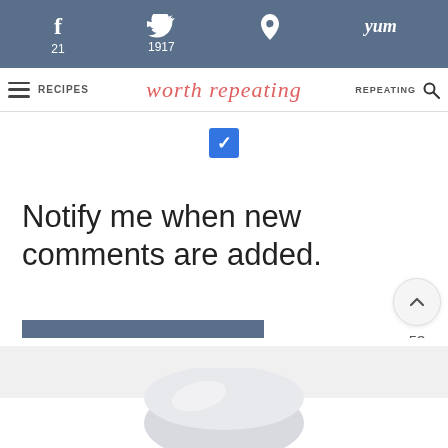f 21  [twitter] 1917  P  yum
RECIPES  [logo: worth repeating]  REPEATING
[Figure (screenshot): Blue checkbox with white checkmark (checked state)]
Notify me when new comments are added.
POST COMMENT
[Figure (infographic): Side panel with chevron-up button (53 count), heart/like button, and dark blue search button]
[Figure (photo): Bottom partial image showing a bowl or plate, light gray background section]